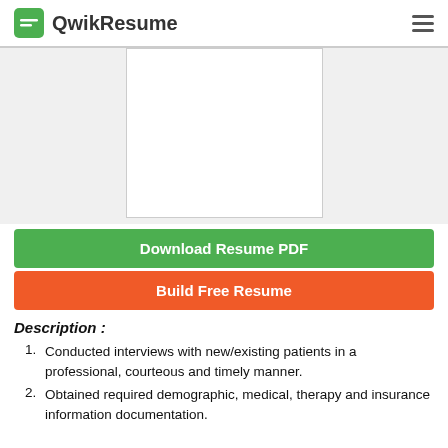QwikResume
[Figure (illustration): Resume preview placeholder box]
Download Resume PDF
Build Free Resume
Description :
Conducted interviews with new/existing patients in a professional, courteous and timely manner.
Obtained required demographic, medical, therapy and insurance information documentation.